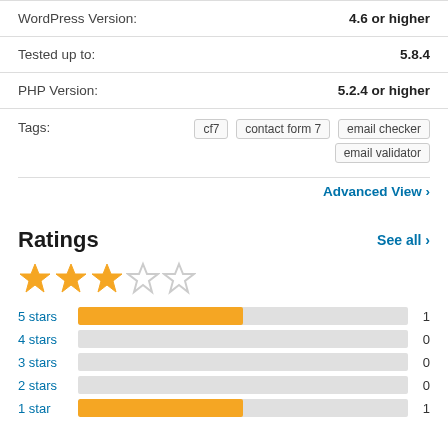| Property | Value |
| --- | --- |
| WordPress Version: | 4.6 or higher |
| Tested up to: | 5.8.4 |
| PHP Version: | 5.2.4 or higher |
| Tags: | cf7  contact form 7  email checker  email validator |
Advanced View
Ratings
[Figure (other): 3 out of 5 stars rating display]
[Figure (bar-chart): Ratings breakdown]